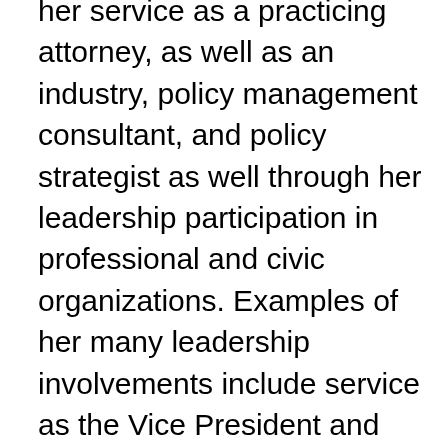her service as a practicing attorney, as well as an industry, policy management consultant, and policy strategist as well through her leadership participation in professional and civic organizations. Examples of her many leadership involvements include service as the Vice President and Executive Director of the North Texas Healthcare Compliance Association; Executive Director of the Coalition on Responsible Health Policy and its PROJECT COPE: Coalition on Patient Empowerment; Vice Chair of the ABA International Law Section Life Sciences and Health Committee; Vice Chair of the ABA Tort & Insurance Practice Section Medicine and Law Committee and former Vice Chair of its Employee Benefits Committee and its Worker's Compensation Commitee; Past Chair of the ABA Health Law Section Managed Care & Insurance Section; ABA Real Property Probate and Trust (RPTE) Section former Employee Benefits Group